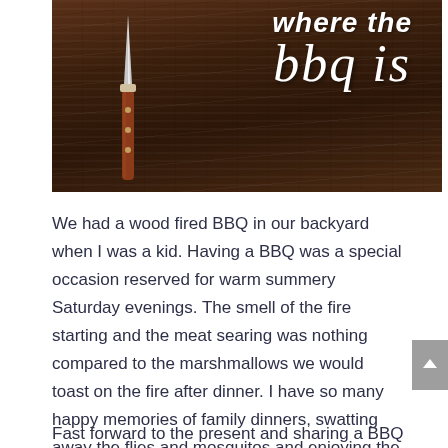[Figure (photo): Dark wood background photo with BBQ tongs/knife on the left and white cursive text reading 'where the bbq is' on the right]
We had a wood fired BBQ in our backyard when I was a kid. Having a BBQ was a special occasion reserved for warm summery Saturday evenings. The smell of the fire starting and the meat searing was nothing compared to the marshmallows we would toast on the fire after dinner. I have so many happy memories of family dinners, swatting away the flies and mosquitos and enjoying the warm weather over a juicy steak, that is if dad didn't overcook them!
Fast forward to the present and sharing a BBQ meal